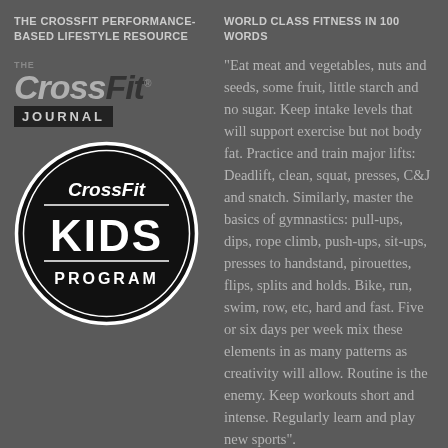THE CROSSFIT PERFORMANCE-BASED LIFESTYLE RESOURCE
WORLD CLASS FITNESS IN 100 WORDS
[Figure (logo): CrossFit Journal logo with bold italic CrossFit text and JOURNAL bar]
[Figure (logo): CrossFit Kids Program circular black badge with white text]
"Eat meat and vegetables, nuts and seeds, some fruit, little starch and no sugar. Keep intake levels that will support exercise but not body fat. Practice and train major lifts: Deadlift, clean, squat, presses, C&J and snatch. Similarly, master the basics of gymnastics: pull-ups, dips, rope climb, push-ups, sit-ups, presses to handstand, pirouettes, flips, splits and holds. Bike, run, swim, row, etc, hard and fast. Five or six days per week mix these elements in as many patterns as creativity will allow. Routine is the enemy. Keep workouts short and intense. Regularly learn and play new sports".